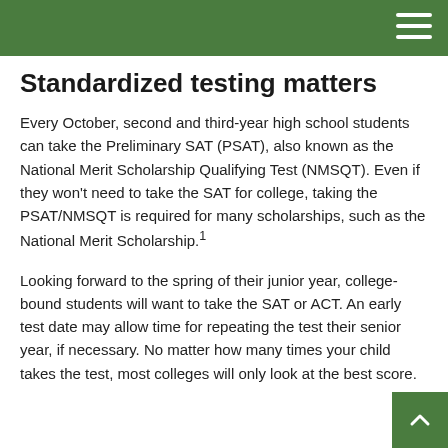Standardized testing matters
Every October, second and third-year high school students can take the Preliminary SAT (PSAT), also known as the National Merit Scholarship Qualifying Test (NMSQT). Even if they won't need to take the SAT for college, taking the PSAT/NMSQT is required for many scholarships, such as the National Merit Scholarship.¹
Looking forward to the spring of their junior year, college-bound students will want to take the SAT or ACT. An early test date may allow time for repeating the test their senior year, if necessary. No matter how many times your child takes the test, most colleges will only look at the best score.